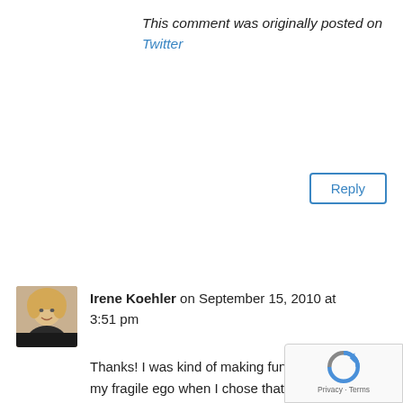This comment was originally posted on Twitter
Reply
Irene Koehler on September 15, 2010 at 3:51 pm
[Figure (photo): Profile photo of Irene Koehler, a woman with blonde hair in professional attire]
Thanks! I was kind of making fun of myself and my fragile ego when I chose that image. 🙂
Reply
TaichiCharlie on September 15, 2010 at 3:43 pm
[Figure (photo): Default grey avatar silhouette for TaichiCharlie]